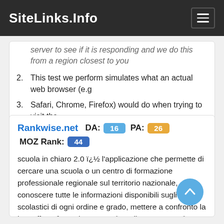SiteLinks.Info
server to see if it is responding and we do this from a region closest to you
This test we perform simulates what an actual web browser (e.g
Safari, Chrome, Firefox) would do when trying to visit the
Rankwise.net  DA: 16  PA: 26  MOZ Rank: 44
scuola in chiaro 2.0 ï¿½ l'applicazione che permette di cercare una scuola o un centro di formazione professionale regionale sul territorio nazionale, conoscere tutte le informazioni disponibili sugli istituti scolastici di ogni ordine e grado, mettere a confronto la loro offerta formativa e accedere direttamente ad alcuni servizi legati alla ricerca di scuole come, per …